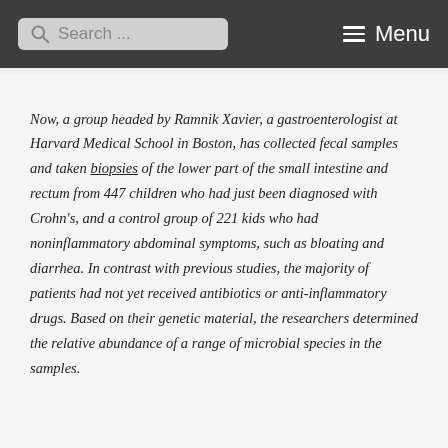Search ... Menu
Now, a group headed by Ramnik Xavier, a gastroenterologist at Harvard Medical School in Boston, has collected fecal samples and taken biopsies of the lower part of the small intestine and rectum from 447 children who had just been diagnosed with Crohn's, and a control group of 221 kids who had noninflammatory abdominal symptoms, such as bloating and diarrhea. In contrast with previous studies, the majority of patients had not yet received antibiotics or anti-inflammatory drugs. Based on their genetic material, the researchers determined the relative abundance of a range of microbial species in the samples.